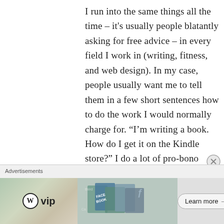I run into the same things all the time – it's usually people blatantly asking for free advice – in every field I work in (writing, fitness, and web design). In my case, people usually want me to tell them in a few short sentences how to do the work I would normally charge for. “I’m writing a book. How do I get it on the Kindle store?” I do a lot of pro-bono work for good causes, but aside from that I’ve gotten pretty good at expressing my enthusiasm for taking them on as a client, and asking if
[Figure (other): Advertisement bar with WordPress VIP logo, social media book graphic in the center, and a 'Learn more →' button on the right. Labeled 'Advertisements' at top left.]